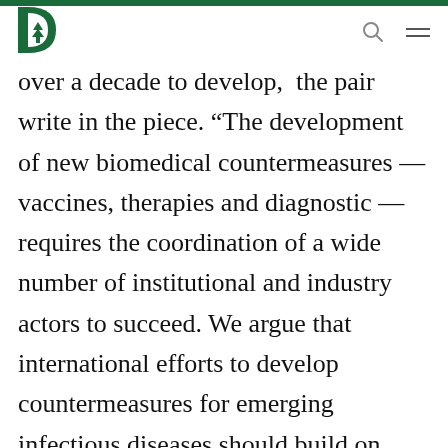Dartmouth College
over a decade to develop,” the pair write in the piece. “The development of new biomedical countermeasures — vaccines, therapies and diagnostic — requires the coordination of a wide number of institutional and industry actors to succeed. We argue that international efforts to develop countermeasures for emerging infectious diseases should build on lessons learned from U.S. programs to develop closely related biodefense